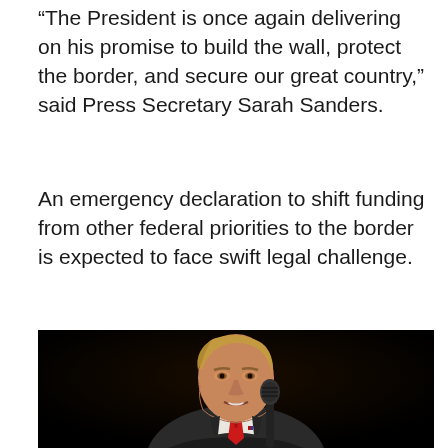“The President is once again delivering on his promise to build the wall, protect the border, and secure our great country,” said Press Secretary Sarah Sanders.
An emergency declaration to shift funding from other federal priorities to the border is expected to face swift legal challenge.
[Figure (photo): A man in a dark suit with a red tie speaking at a microphone against a black background.]